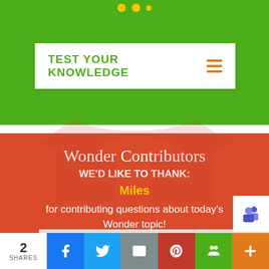[Figure (screenshot): Green background section with decorative yellow dots at top and a cartoon robot/alien figure visible partially]
TEST YOUR KNOWLEDGE
[Figure (other): Hamburger menu icon with three orange horizontal lines]
Wonder Contributors
WE'D LIKE TO THANK:
Miles
for contributing questions about today's Wonder topic!
Keep WONDERing with us!
[Figure (other): Microsoft Teams icon]
2 SHARES
[Figure (other): Social share buttons: Facebook, Twitter, Email, Pinterest, Classroom, More]